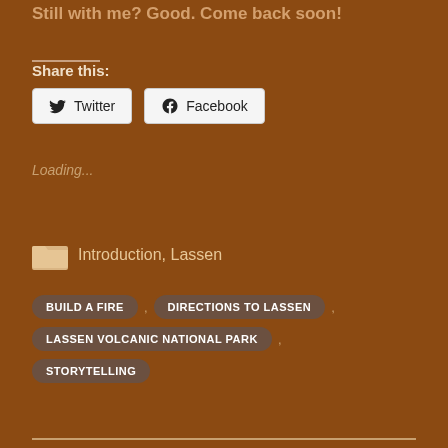Still with me? Good. Come back soon!
Share this:
Twitter   Facebook
Loading...
Introduction, Lassen
BUILD A FIRE
DIRECTIONS TO LASSEN
LASSEN VOLCANIC NATIONAL PARK
STORYTELLING